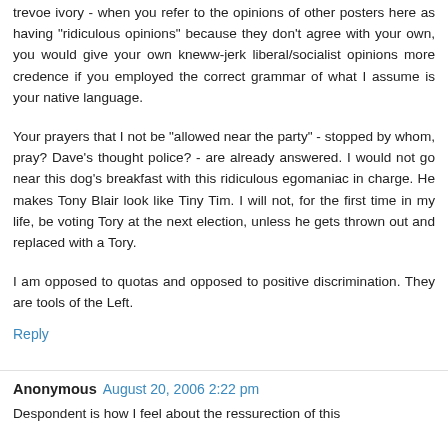trevoe ivory - when you refer to the opinions of other posters here as having "ridiculous opinions" because they don't agree with your own, you would give your own kneww-jerk liberal/socialist opinions more credence if you employed the correct grammar of what I assume is your native language.
Your prayers that I not be "allowed near the party" - stopped by whom, pray? Dave's thought police? - are already answered. I would not go near this dog's breakfast with this ridiculous egomaniac in charge. He makes Tony Blair look like Tiny Tim. I will not, for the first time in my life, be voting Tory at the next election, unless he gets thrown out and replaced with a Tory.
I am opposed to quotas and opposed to positive discrimination. They are tools of the Left.
Reply
Anonymous  August 20, 2006 2:22 pm
Despondent is how I feel about the ressurection of this